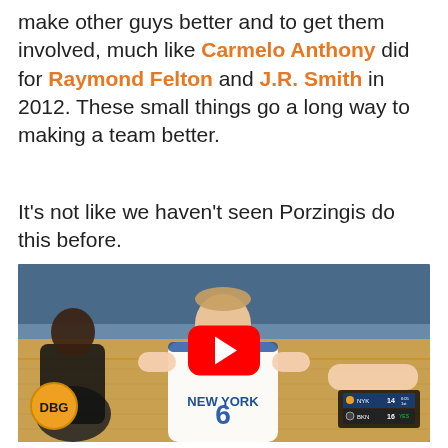make other guys better and to get them involved, much like Carmelo Anthony did for Raymond Felton and J.R. Smith in 2012. These small things go a long way to making a team better.
It's not like we haven't seen Porzingis do this before.
[Figure (screenshot): Video thumbnail of a New York Knicks basketball game showing player #6 in a white New York jersey on the court, with a red YouTube play button overlay, DBG logo in bottom-left, and a scoreboard showing NYK 14 vs BKN 16 in bottom-right.]